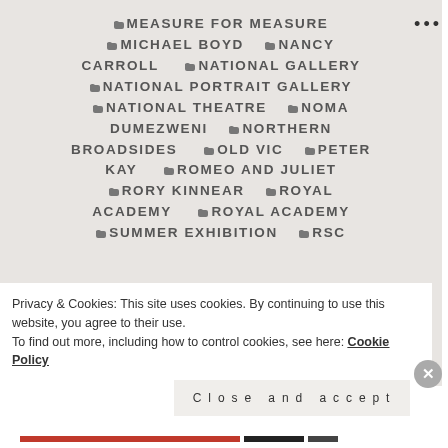• MEASURE FOR MEASURE  • MICHAEL BOYD  • NANCY CARROLL  • NATIONAL GALLERY  • NATIONAL PORTRAIT GALLERY  • NATIONAL THEATRE  • NOMA DUMEZWENI  • NORTHERN BROADSIDES  • OLD VIC  • PETER KAY  • ROMEO AND JULIET  • RORY KINNEAR  • ROYAL ACADEMY  • ROYAL ACADEMY SUMMER EXHIBITION  • RSC
Privacy & Cookies: This site uses cookies. By continuing to use this website, you agree to their use.
To find out more, including how to control cookies, see here: Cookie Policy
Close and accept